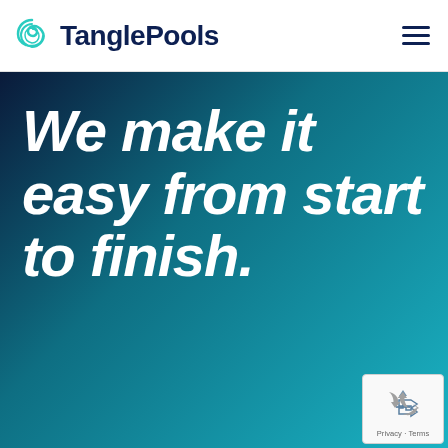TanglePools
We make it easy from start to finish.
[Figure (logo): reCAPTCHA badge with recycling arrow icon and Privacy · Terms links]